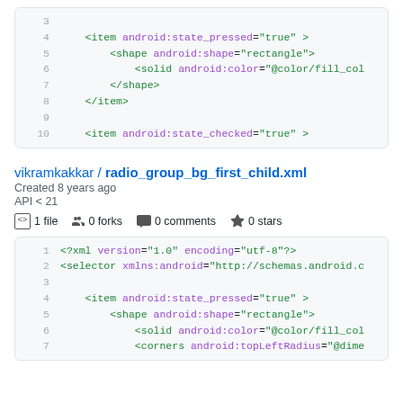[Figure (screenshot): Code block showing XML lines 3-10 with Android selector XML attributes]
vikramkakkar / radio_group_bg_first_child.xml
Created 8 years ago
API < 21
1 file   0 forks   0 comments   0 stars
[Figure (screenshot): Code block showing XML lines 1-7 with Android selector XML including corners attribute]